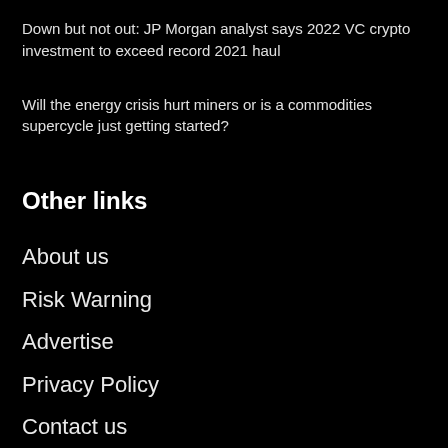Down but not out: JP Morgan analyst says 2022 VC crypto investment to exceed record 2021 haul
Will the energy crisis hurt miners or is a commodities supercycle just getting started?
Other links
About us
Risk Warning
Advertise
Privacy Policy
Contact us